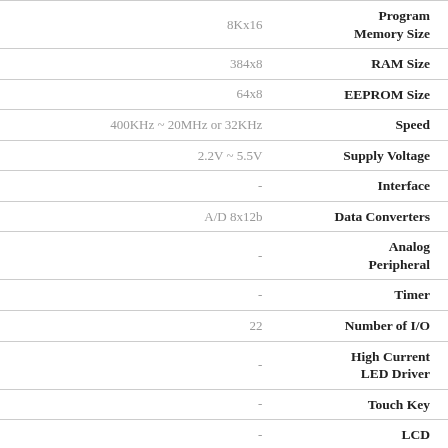| Value | Parameter |
| --- | --- |
| 8Kx16 | Program Memory Size |
| 384x8 | RAM Size |
| 64x8 | EEPROM Size |
| 400KHz ~ 20MHz or 32KHz | Speed |
| 2.2V ~ 5.5V | Supply Voltage |
| - | Interface |
| A/D 8x12b | Data Converters |
| - | Analog Peripheral |
| - | Timer |
| 22 | Number of I/O |
| - | High Current LED Driver |
| - | Touch Key |
| - | LCD |